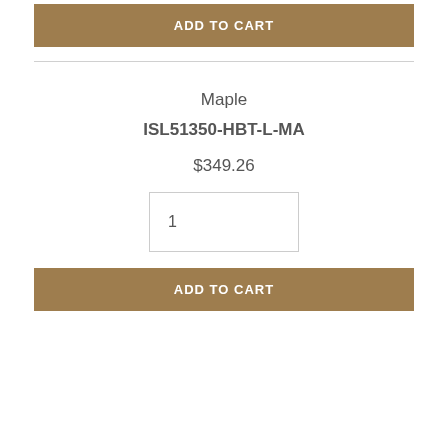ADD TO CART
Maple
ISL51350-HBT-L-MA
$349.26
1
ADD TO CART